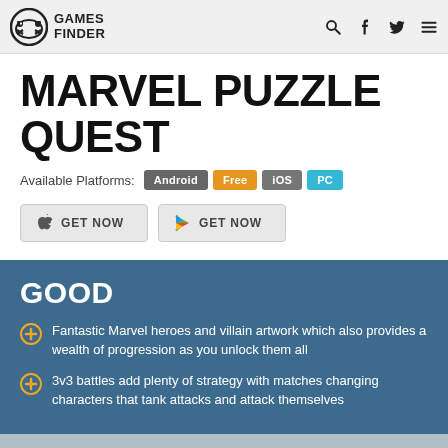GAMES FINDER
MARVEL PUZZLE QUEST
Available Platforms: Android  Free  iOS  PC
GET NOW  GET NOW
GOOD
Fantastic Marvel heroes and villain artwork which also provides a wealth of progression as you unlock them all
3v3 battles add plenty of strategy with matches changing characters that tank attacks and attack themselves
BAD